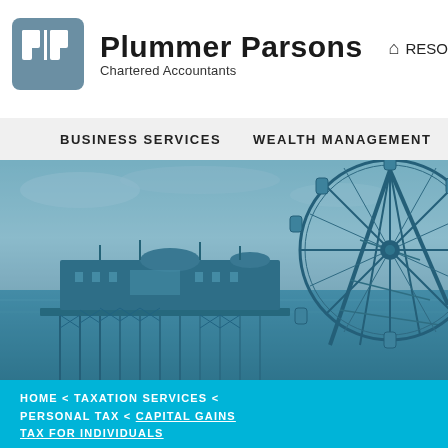[Figure (logo): Plummer Parsons Chartered Accountants logo with pp initials in grey-blue box]
Plummer Parsons
Chartered Accountants
RESO
BUSINESS SERVICES   WEALTH MANAGEMENT
[Figure (photo): Teal-tinted photograph of Brighton Pier and the Brighton Wheel (Ferris wheel) on the seafront]
HOME < TAXATION SERVICES < PERSONAL TAX < CAPITAL GAINS TAX FOR INDIVIDUALS